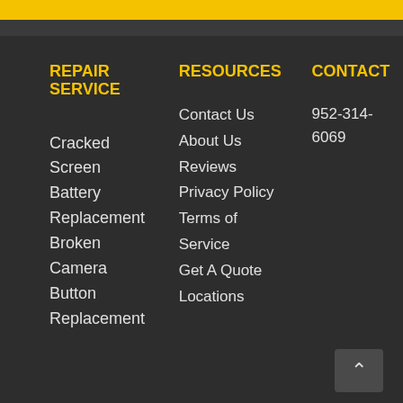REPAIR SERVICE
Cracked
Screen
Battery
Replacement
Broken
Camera
Button
Replacement
RESOURCES
Contact Us
About Us
Reviews
Privacy Policy
Terms of Service
Get A Quote
Locations
CONTACT
952-314-6069